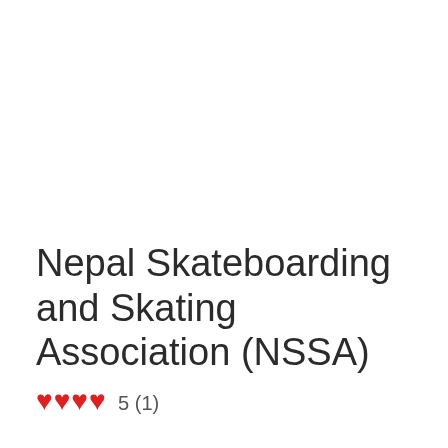Nepal Skateboarding and Skating Association (NSSA) ♥♥♥♥ 5 (1)